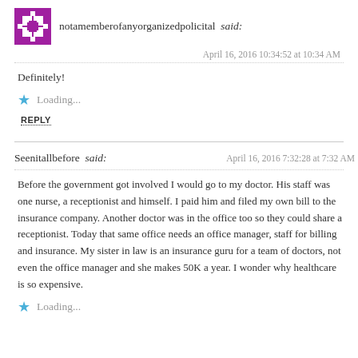notamemberofanyorganizedpolicital said:
April 16, 2016 10:34:52 at 10:34 AM
Definitely!
Loading...
REPLY
Seenitallbefore said:
April 16, 2016 7:32:28 at 7:32 AM
Before the government got involved I would go to my doctor. His staff was one nurse, a receptionist and himself. I paid him and filed my own bill to the insurance company. Another doctor was in the office too so they could share a receptionist. Today that same office needs an office manager, staff for billing and insurance. My sister in law is an insurance guru for a team of doctors, not even the office manager and she makes 50K a year. I wonder why healthcare is so expensive.
Loading...